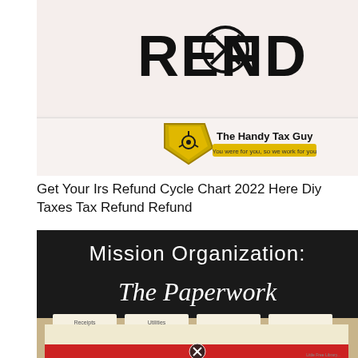[Figure (photo): Image showing the word REFUND in large black letters with a radiation/no symbol replacing the letter U, and a shield logo for 'The Handy Tax Guy' with tagline 'You were for you, so we work for you']
Get Your Irs Refund Cycle Chart 2022 Here Diy Taxes Tax Refund Refund
See also  When Do Black Friday Sales Start Australia
[Figure (photo): Dark chalkboard image with white text reading 'Mission Organization: The Paperwork' above manila file folders with colorful tabs, labeled with categories. A close button icon appears at the bottom center.]